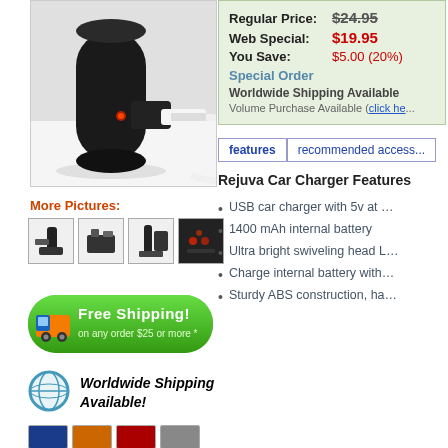[Figure (photo): Product photo of a black Rejuva Car Charger with a white USB cable plugged in, showing the cylindrical black charger and white connector on a light background]
More Pictures:
[Figure (photo): Thumbnail image 1 of car charger]
[Figure (photo): Thumbnail image 2 of car charger accessories]
[Figure (photo): Thumbnail image 3 of car charger]
[Figure (photo): Thumbnail image 4 of car charger in use]
[Figure (illustration): Free Shipping badge: green rounded rectangle with truck icon and text 'Free Shipping! on any order $25 or more *']
[Figure (illustration): Globe icon with teal circular border for Worldwide Shipping Available]
Worldwide Shipping Available!
| Regular Price: | $24.95 |
| Web Special: | $19.95 |
| You Save: | $5.00 (20%) |
Special Order
Worldwide Shipping Available
Volume Purchase Available (click he...
features
recommended access...
Rejuva Car Charger Features
USB car charger with 5v at ...
1400 mAh internal battery
Ultra bright swiveling head L...
Charge internal battery with...
Sturdy ABS construction, ha...